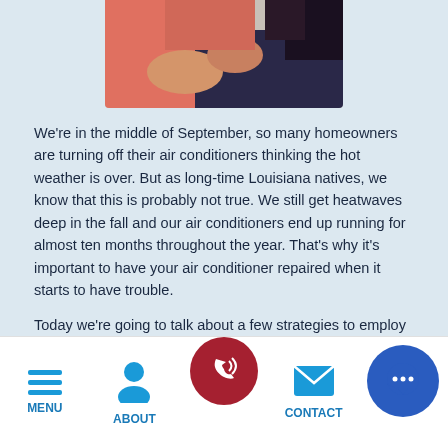[Figure (photo): Partial photo showing a person in a pink shirt with hands visible, cropped at top of page]
We're in the middle of September, so many homeowners are turning off their air conditioners thinking the hot weather is over. But as long-time Louisiana natives, we know that this is probably not true. We still get heatwaves deep in the fall and our air conditioners end up running for almost ten months throughout the year. That's why it's important to have your air conditioner repaired when it starts to have trouble.
Today we're going to talk about a few strategies to employ when you're in need of help with your air
[Figure (other): Mobile navigation bar with Menu (hamburger icon), About (person icon), phone call button (red circle with phone icon), Contact (mail icon), and chat bubble (blue circle with dots)]